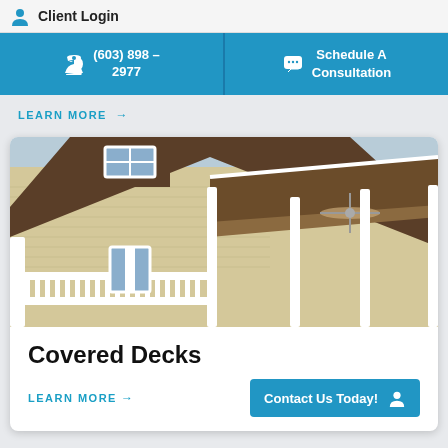Client Login
(603) 898 - 2977
Schedule A Consultation
LEARN MORE →
[Figure (photo): Exterior photo of a house with a covered deck featuring white railings and columns, brown shingle roof, and a ceiling fan visible under the covered porch area.]
Covered Decks
LEARN MORE →
Contact Us Today!